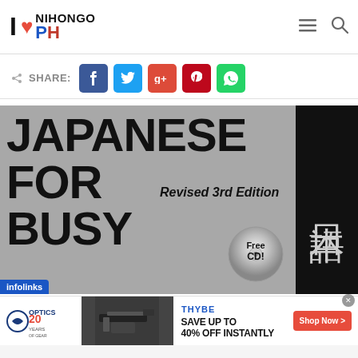I ❤ NIHONGO PH
SHARE: [Facebook] [Twitter] [Google+] [Pinterest] [WhatsApp]
[Figure (photo): Book cover: 'Japanese for Busy People - Revised 3rd Edition' with Japanese characters on the right side and a Free CD badge. Infolinks badge at bottom left.]
[Figure (photo): Advertisement banner: OpticsPlanet 20 Years of Gear logo on left, gun image in center, Thybe logo with 'SAVE UP TO 40% OFF INSTANTLY' text and red 'Shop Now >' button on right.]